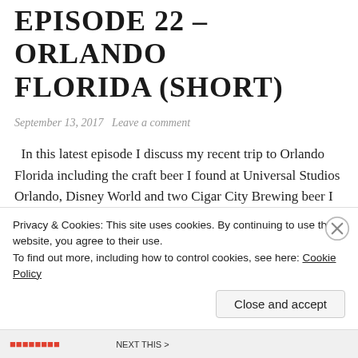EPISODE 22 – ORLANDO FLORIDA (SHORT)
September 13, 2017   Leave a comment
In this latest episode I discuss my recent trip to Orlando Florida including the craft beer I found at Universal Studios Orlando, Disney World and two Cigar City Brewing beer I brought home. blogger Involved: Mike G of http://www.mikescraftbeer.com Correction Funky Buddha was purchased by Constellation Brands not AB-Inbev as incorrectly stated. I apologize. … Continue reading
Privacy & Cookies: This site uses cookies. By continuing to use this website, you agree to their use.
To find out more, including how to control cookies, see here: Cookie Policy
Close and accept